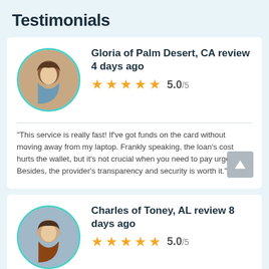Testimonials
Gloria of Palm Desert, CA review 4 days ago
5.0/5
“This service is really fast! If’ve got funds on the card without moving away from my laptop. Frankly speaking, the loan’s cost hurts the wallet, but it’s not crucial when you need to pay urgent bill. Besides, the provider’s transparency and security is worth it.”
Charles of Toney, AL review 8 days ago
5.0/5